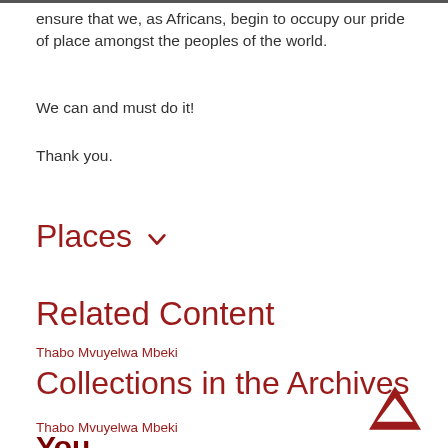ensure that we, as Africans, begin to occupy our pride of place amongst the peoples of the world.
We can and must do it!
Thank you.
Places
Related Content
Thabo Mvuyelwa Mbeki
Collections in the Archives
Thabo Mvuyelwa Mbeki
You